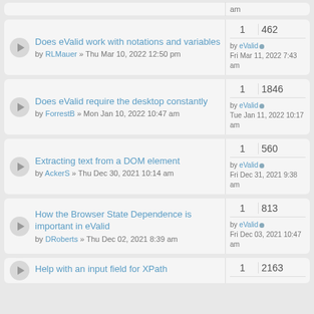Does eValid work with notations and variables by RLMauer » Thu Mar 10, 2022 12:50 pm | 1 reply | 462 views | by eValid Fri Mar 11, 2022 7:43 am
Does eValid require the desktop constantly by ForrestB » Mon Jan 10, 2022 10:47 am | 1 reply | 1846 views | by eValid Tue Jan 11, 2022 10:17 am
Extracting text from a DOM element by AckerS » Thu Dec 30, 2021 10:14 am | 1 reply | 560 views | by eValid Fri Dec 31, 2021 9:38 am
How the Browser State Dependence is important in eValid by DRoberts » Thu Dec 02, 2021 8:39 am | 1 reply | 813 views | by eValid Fri Dec 03, 2021 10:47 am
Help with an input field for XPath | 1 | 2163